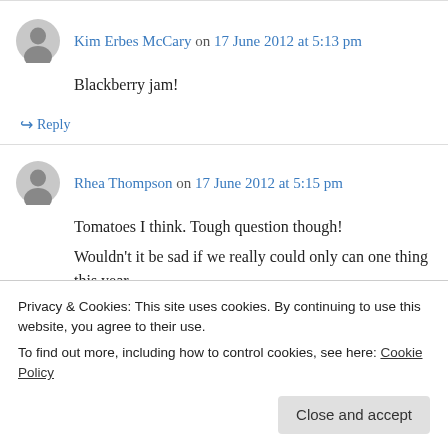Kim Erbes McCary on 17 June 2012 at 5:13 pm
Blackberry jam!
↪ Reply
Rhea Thompson on 17 June 2012 at 5:15 pm
Tomatoes I think. Tough question though! Wouldn't it be sad if we really could only can one thing this year
Privacy & Cookies: This site uses cookies. By continuing to use this website, you agree to their use. To find out more, including how to control cookies, see here: Cookie Policy
Close and accept